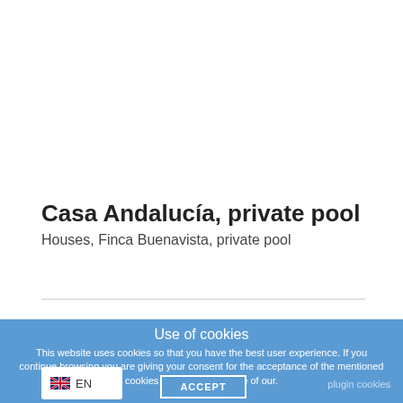Casa Andalucía, private pool
Houses, Finca Buenavista, private pool
Use of cookies
This website uses cookies so that you have the best user experience. If you continue browsing you are giving your consent for the acceptance of the mentioned cookies and the acceptance of our.
ACCEPT
plugin cookies
EN